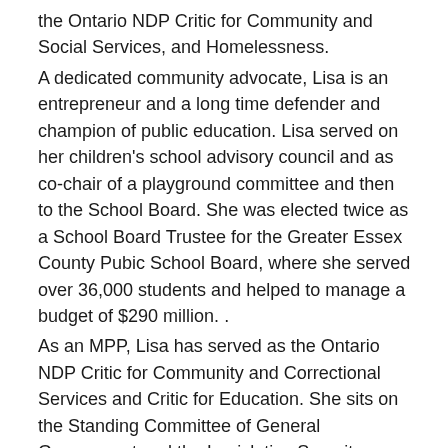the Ontario NDP Critic for Community and Social Services, and Homelessness.
A dedicated community advocate, Lisa is an entrepreneur and a long time defender and champion of public education. Lisa served on her children's school advisory council and as co-chair of a playground committee and then to the School Board. She was elected twice as a School Board Trustee for the Greater Essex County Pubic School Board, where she served over 36,000 students and helped to manage a budget of $290 million. .
As an MPP, Lisa has served as the Ontario NDP Critic for Community and Correctional Services and Critic for Education. She sits on the Standing Committee of General Government and the Legislative Security Advisory Committee. Throughout her tenure as an MPP, Lisa has been a tireless advocate for health and education. Her Private Members Bill 92, the Empowering Homecare Patients Act, seeks to ensure homecare recipients can appeal reductions to their service.